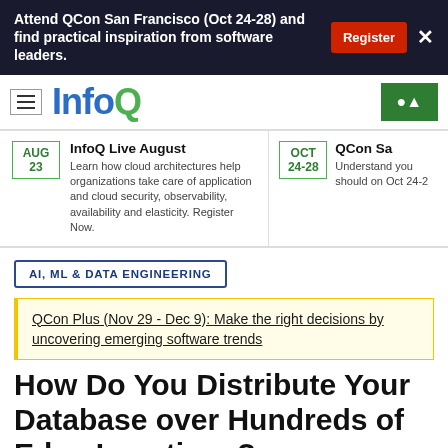Attend QCon San Francisco (Oct 24-28) and find practical inspiration from software leaders.
[Figure (logo): InfoQ logo with hamburger menu and user account icon]
InfoQ Live August
Learn how cloud architectures help organizations take care of application and cloud security, observability, availability and elasticity. Register Now.
QCon Sa
Understand you should on Oct 24-2
AI, ML & DATA ENGINEERING
QCon Plus (Nov 29 - Dec 9): Make the right decisions by uncovering emerging software trends
How Do You Distribute Your Database over Hundreds of Edge Locations?